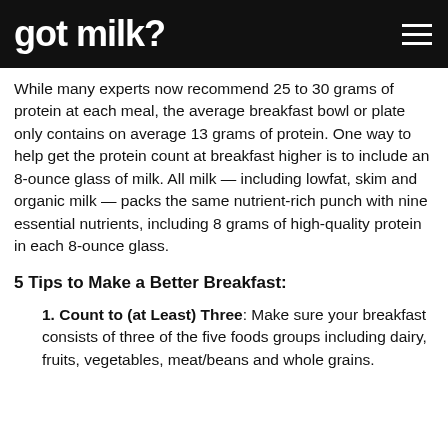got milk?
While many experts now recommend 25 to 30 grams of protein at each meal, the average breakfast bowl or plate only contains on average 13 grams of protein. One way to help get the protein count at breakfast higher is to include an 8-ounce glass of milk. All milk — including lowfat, skim and organic milk — packs the same nutrient-rich punch with nine essential nutrients, including 8 grams of high-quality protein in each 8-ounce glass.
5 Tips to Make a Better Breakfast:
1. Count to (at Least) Three: Make sure your breakfast consists of three of the five foods groups including dairy, fruits, vegetables, meat/beans and whole grains.